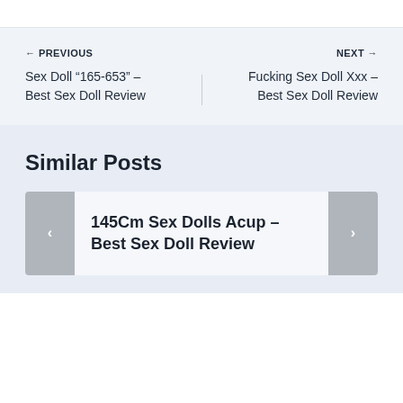← PREVIOUS
Sex Doll “165-653” – Best Sex Doll Review
NEXT →
Fucking Sex Doll Xxx – Best Sex Doll Review
Similar Posts
145Cm Sex Dolls Acup – Best Sex Doll Review